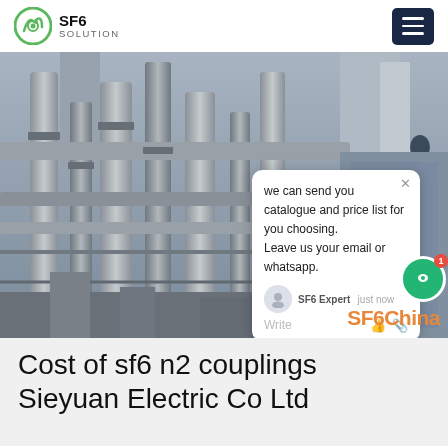SF6 SOLUTION
[Figure (photo): Industrial plant with large pipes, metal structures, scaffolding, and a worker visible. SF6China watermark in bottom right. Chat popup overlay showing message: 'we can send you catalogue and price list for you choosing. Leave us your email or whatsapp.']
Cost of sf6 n2 couplings Sieyuan Electric Co Ltd